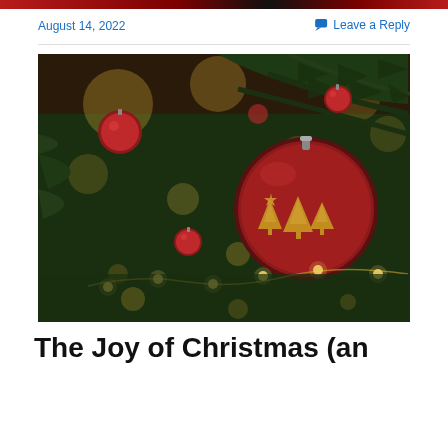August 14, 2022
Leave a Reply
[Figure (photo): Close-up photograph of a Christmas tree with red and gold ornament balls and bokeh lights in the background]
The Joy of Christmas (an